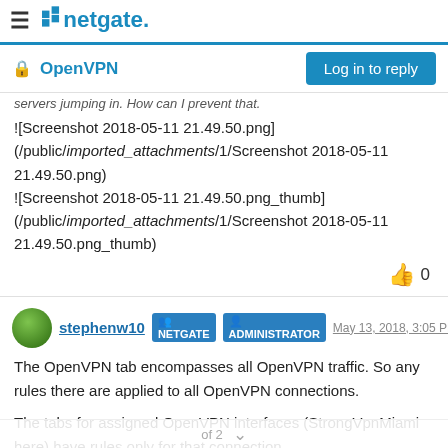netgate.
OpenVPN
servers jumping in. How can I prevent that.
![Screenshot 2018-05-11 21.49.50.png](/public/imported_attachments/1/Screenshot 2018-05-11 21.49.50.png)
![Screenshot 2018-05-11 21.49.50.png_thumb](/public/imported_attachments/1/Screenshot 2018-05-11 21.49.50.png_thumb)
👍 0
stephenw10  NETGATE  ADMINISTRATOR  May 13, 2018, 3:05 PM
The OpenVPN tab encompasses all OpenVPN traffic. So any rules there are applied to all OpenVPN connections.
The tabs for assigned OpenVPN interfaces (StrongVpnMiami here) have rules only for that connection.
of 2